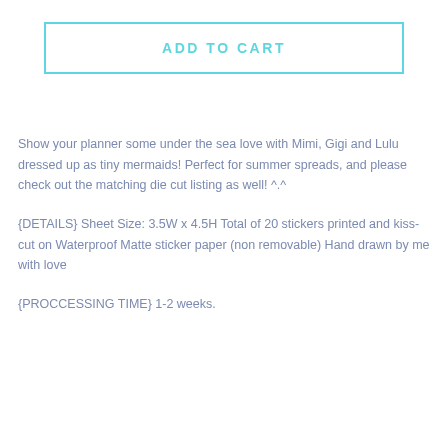ADD TO CART
Show your planner some under the sea love with Mimi, Gigi and Lulu dressed up as tiny mermaids! Perfect for summer spreads, and please check out the matching die cut listing as well! ^.^
{DETAILS} Sheet Size: 3.5W x 4.5H Total of 20 stickers printed and kiss-cut on Waterproof Matte sticker paper (non removable) Hand drawn by me with love
{PROCCESSING TIME} 1-2 weeks.